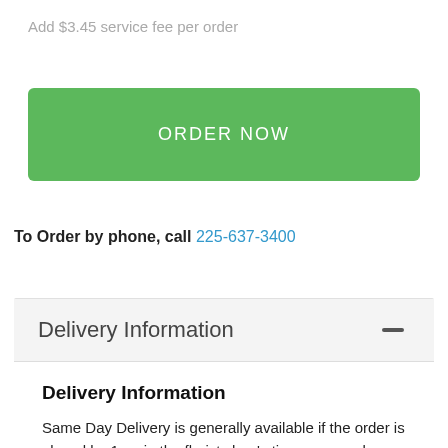Add $3.45 service fee per order
ORDER NOW
To Order by phone, call 225-637-3400
Delivery Information
Delivery Information
Same Day Delivery is generally available if the order is placed by 1pm in the florist shop's time zone and as allowed by the delivery date selection calendar.
Click here to know more.